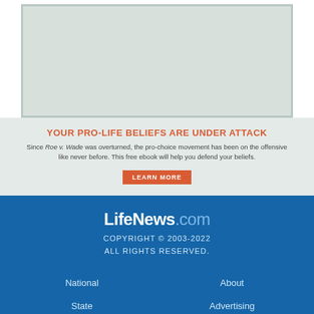[Figure (other): Gray placeholder image area at top of page]
YOUR PRO-LIFE BELIEFS ARE UNDER ATTACK
Since Roe v. Wade was overturned, the pro-choice movement has been on the offensive like never before. This free ebook will help you defend your beliefs.
LEARN MORE
LifeNews.com
COPYRIGHT © 2003-2022
ALL RIGHTS RESERVED.
National
About
State
Advertising
International
Reprint